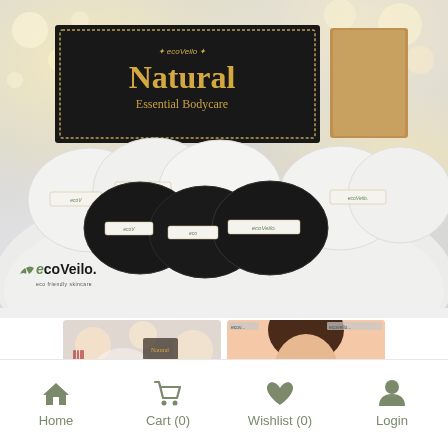[Figure (photo): ecoVeilo Natural Essential Bodycare product photo showing white and black reusable cotton pads on white fur, with black gift box and kraft box behind, bokeh bokeh lights background, ecoVeilo watermark bottom-left]
[Figure (photo): Two thumbnail product images below the main image: left thumbnail with bokeh/glitter background, right thumbnail showing a person's face/head]
Home  Cart (0)  Wishlist (0)  Login